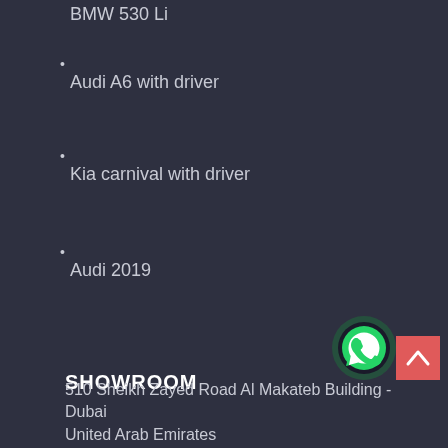BMW 530 Li
Audi A6 with driver
Kia carnival with driver
Audi 2019
SHOWROOM
510 Sheikh Zayed Road Al Makateb Building - Dubai
United Arab Emirates